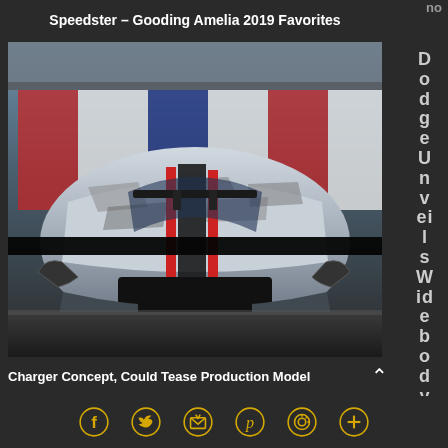no
Speedster – Gooding Amelia 2019 Favorites
[Figure (photo): Front view of a white Dodge Charger concept car with camouflage wrap, red racing stripes, and SRT branding, photographed on a race track.]
Dodge Unveils Widebody
Charger Concept, Could Tease Production Model
[Figure (infographic): Social media share icons row: Facebook, Twitter, Email, Pinterest, WhatsApp, Plus/More]